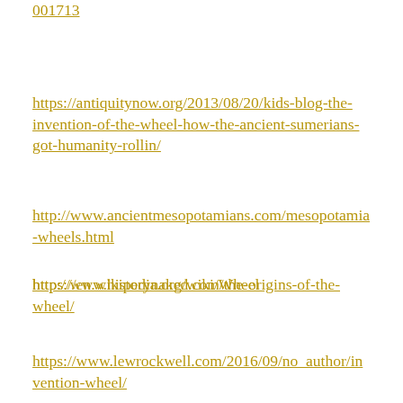001713
https://antiquitynow.org/2013/08/20/kids-blog-the-invention-of-the-wheel-how-the-ancient-sumerians-got-humanity-rollin/
http://www.ancientmesopotamians.com/mesopotamia-wheels.html
https://en.wikipedia.org/wiki/Wheel
http://www.historynaked.com/the-origins-of-the-wheel/
https://www.lewrockwell.com/2016/09/no_author/invention-wheel/